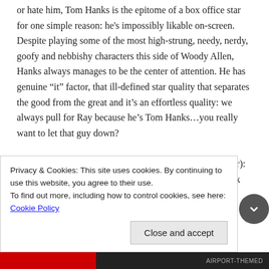or hate him, Tom Hanks is the epitome of a box office star for one simple reason: he's impossibly likable on-screen. Despite playing some of the most high-strung, needy, nerdy, goofy and nebbishy characters this side of Woody Allen, Hanks always manages to be the center of attention. He has genuine “it” factor, that ill-defined star quality that separates the good from the great and it’s an effortless quality: we always pull for Ray because he’s Tom Hanks…you really want to let that guy down?
It’s not a solo show, of course (that would come a bit later): there’s plenty of support in this particular back-field. Rick Ducommun is an able foil as the oafish, if
Privacy & Cookies: This site uses cookies. By continuing to use this website, you agree to their use.
To find out more, including how to control cookies, see here: Cookie Policy
Close and accept